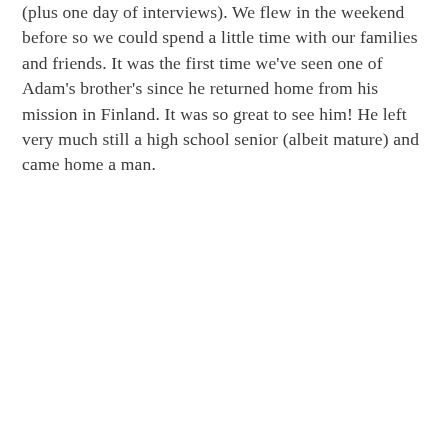(plus one day of interviews). We flew in the weekend before so we could spend a little time with our families and friends. It was the first time we've seen one of Adam's brother's since he returned home from his mission in Finland. It was so great to see him! He left very much still a high school senior (albeit mature) and came home a man.